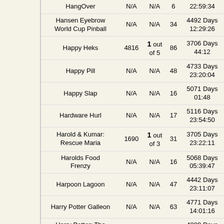| Game | Score | Rating | Players | Time |
| --- | --- | --- | --- | --- |
| HangOver | N/A | N/A | 6 | 22:59:34 |
| Hansen Eyebrow World Cup Pinball | N/A | N/A | 34 | 4492 Days 12:29:26 |
| Happy Heks | 4816 | 1 out of 5 | 86 | 3706 Days 44:12 |
| Happy Pill | N/A | N/A | 48 | 4733 Days 23:20:04 |
| Happy Slap | N/A | N/A | 16 | 5071 Days 01:48 |
| Hardware Hurl | N/A | N/A | 17 | 5116 Days 23:54:50 |
| Harold & Kumar: Rescue Maria | 1690 | 1 out of 3 | 31 | 3705 Days 23:22:11 |
| Harolds Food Frenzy | N/A | N/A | 16 | 5068 Days 05:39:47 |
| Harpoon Lagoon | N/A | N/A | 47 | 4442 Days 23:11:07 |
| Harry Potter Galleon | N/A | N/A | 63 | 4771 Days 14:01:16 |
| Harry Potter: The Marauder`s Map | N/A | N/A | 22 | 4809 Days 05:47:15 |
| Harry Potter`s Ghoul Attic | N/A | N/A | 19 | 2071 Days 10:49:37 |